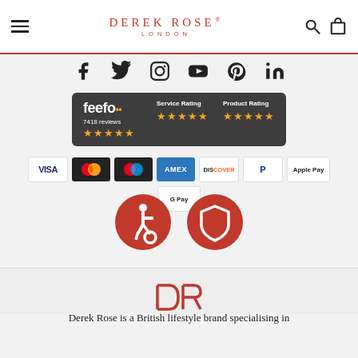DEREK ROSE LONDON
[Figure (infographic): Row of social media icons: Facebook, Twitter, Instagram, YouTube, Pinterest, LinkedIn]
[Figure (infographic): Feefo dark banner: Service Rating and Product Rating, 5 stars each, 7418 reviews]
[Figure (infographic): Payment method logos: VISA, Mastercard, Maestro, AMEX, Discover, PayPal, Apple Pay, Google Pay]
[Figure (infographic): Two red circular icons: wheelchair accessibility symbol and shield/privacy symbol]
[Figure (logo): Derek Rose stylized DR monogram logo in red]
Derek Rose is a British lifestyle brand specialising in